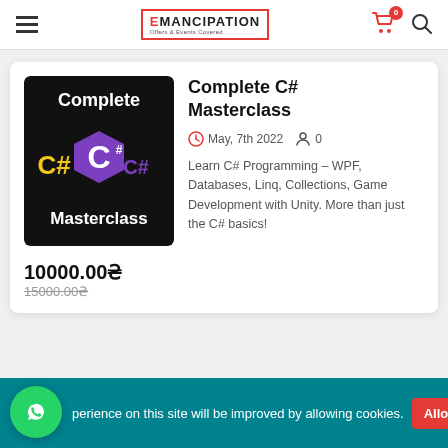Emancipation — navigation header with logo, cart (0), search
[Figure (screenshot): Complete C# Masterclass course thumbnail: black background with 'Complete' text at top, yellow 'C#' text and purple C++ logo, 'Masterclass' text at bottom]
Complete C# Masterclass
May, 7th 2022  0
Learn C# Programming – WPF, Databases, Linq, Collections, Game Development with Unity. More than just the C# basics!
10000.00₴
15000.00₴
perience on this site will be improved by allowing cookies. Allow cookies